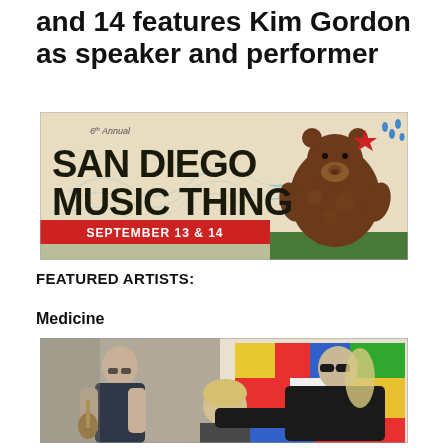and 14 features Kim Gordon as speaker and performer
[Figure (illustration): 6th Annual San Diego Music Thing, September 13 & 14 event banner with illustrated bear and decorative elements]
FEATURED ARTISTS:
Medicine
[Figure (photo): Photo of three members of the band Medicine, two men and a woman, posing in front of colorful artwork]